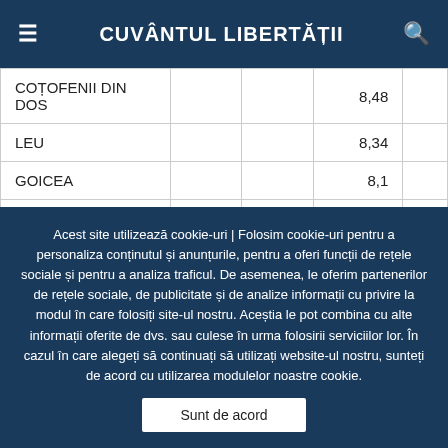Cuvântul Libertății
| COȚOFENII DIN DOS |  |  | 8,48 |  |
| LEU |  |  | 8,34 |  |
| GOICEA |  |  | 8,1 |  |
| MELINEȘTI |  |  | 7,97 |  |
| BREASTA |  |  | 7,78 |  |
Acest site utilizează cookie-uri | Folosim cookie-uri pentru a personaliza conținutul și anunțurile, pentru a oferi funcții de rețele sociale și pentru a analiza traficul. De asemenea, le oferim partenerilor de rețele sociale, de publicitate și de analize informații cu privire la modul în care folosiți site-ul nostru. Aceștia le pot combina cu alte informații oferite de dvs. sau culese în urma folosirii serviciilor lor. În cazul în care alegeți să continuați să utilizați website-ul nostru, sunteți de acord cu utilizarea modulelor noastre cookie.